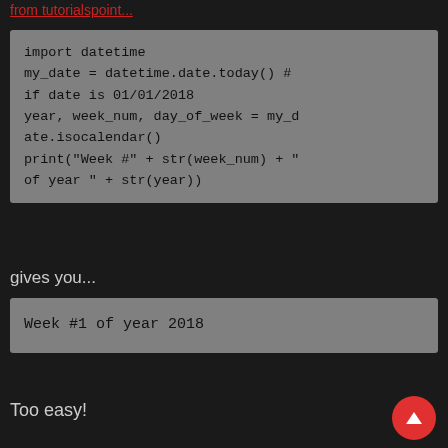from tutorialspoint...
[Figure (screenshot): Code block showing Python datetime code: import datetime; my_date = datetime.date.today() # if date is 01/01/2018; year, week_num, day_of_week = my_date.isocalendar(); print("Week #" + str(week_num) + " of year " + str(year))]
gives you...
[Figure (screenshot): Output block showing: Week #1 of year 2018]
Too easy!